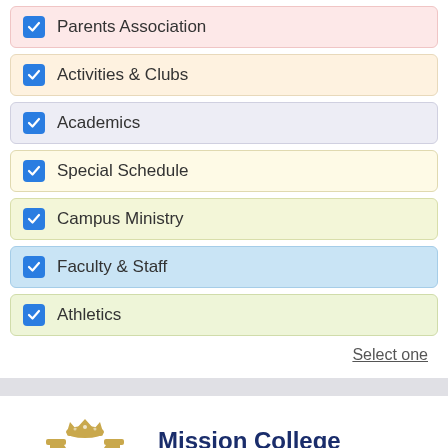Parents Association
Activities & Clubs
Academics
Special Schedule
Campus Ministry
Faculty & Staff
Athletics
Select one
[Figure (logo): Mission College Preparatory Catholic High School logo — stylized golden M with crown and school name in navy blue]